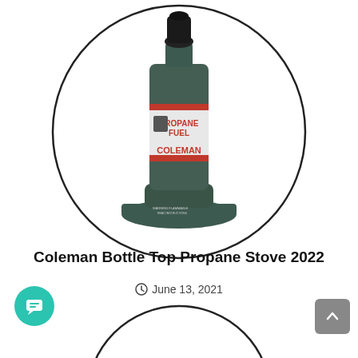[Figure (photo): Coleman Bottle Top Propane Stove / propane fuel canister with burner attachment on top, shown inside a circular border. The canister is dark green with a label reading PROPANE FUEL and COLEMAN in red lettering. It sits on a wide dark green base/stand.]
Coleman Bottle Top Propane Stove 2022
June 13, 2021